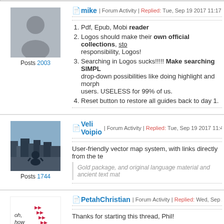Forum post thread - partial page top
mike | Forum Activity | Replied: Tue, Sep 19 2017 11:17 PM
Pdf, Epub, Mobi reader
Logos should make their own official collections, sto... responsibility, Logos!
Searching in Logos sucks!!!!! Make searching SIMPL... drop-down possibilities like doing highlight and morph... users. USELESS for 99% of us.
Reset button to restore all guides back to day 1.
Veli Voipio | Forum Activity | Replied: Tue, Sep 19 2017 11:44 PM
User-friendly vector map system, with links directly from the te...
Gold package, and original language material and ancient text mat...
PetahChristian | Forum Activity | Replied: Wed, Sep 20 2017 12:21
Thanks for starting this thread, Phil!
Some of us have been hoping for a Jewish or Messianic Jewi...
Is a Jewish base-package on the way?
Can we have Jewish base packages in Logos BS...